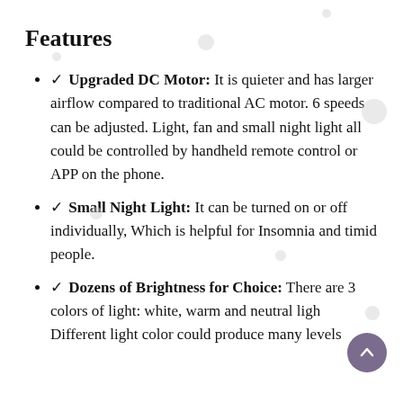Features
✓ Upgraded DC Motor: It is quieter and has larger airflow compared to traditional AC motor. 6 speeds can be adjusted. Light, fan and small night light all could be controlled by handheld remote control or APP on the phone.
✓ Small Night Light: It can be turned on or off individually, Which is helpful for Insomnia and timid people.
✓ Dozens of Brightness for Choice: There are 3 colors of light: white, warm and neutral light. Different light color could produce many levels